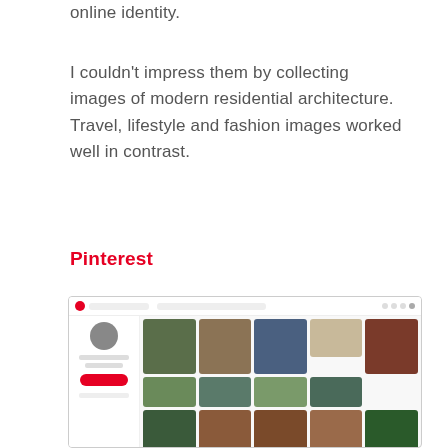online identity.
I couldn’t impress them by collecting images of modern residential architecture. Travel, lifestyle and fashion images worked well in contrast.
Pinterest
[Figure (screenshot): Screenshot of a Pinterest profile page showing a user named Tadeusz Domarecki with a grid of pinned images including birds, landscapes, a wolf, and other photos.]